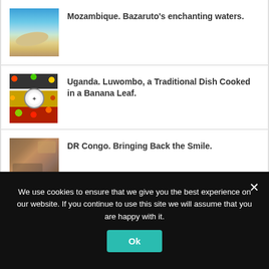Mozambique. Bazaruto's enchanting waters.
Uganda. Luwombo, a Traditional Dish Cooked in a Banana Leaf.
DR Congo. Bringing Back the Smile.
We use cookies to ensure that we give you the best experience on our website. If you continue to use this site we will assume that you are happy with it.